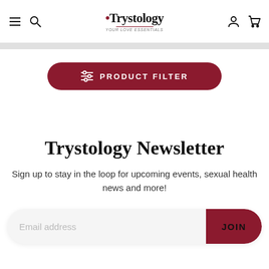Trystology — navigation bar with menu, search, logo, account, and cart icons
[Figure (screenshot): Product Filter button — a dark red pill-shaped button with a filter/sliders icon and the text PRODUCT FILTER in white capital letters]
Trystology Newsletter
Sign up to stay in the loop for upcoming events, sexual health news and more!
Email address — JOIN button